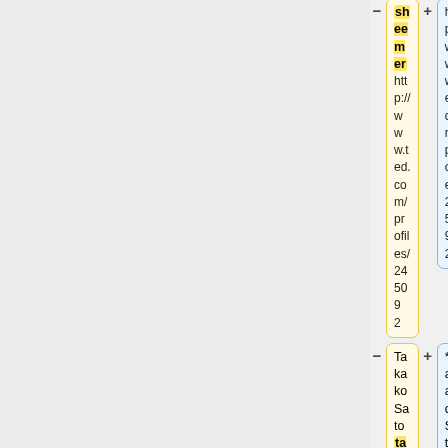sheemer http://www.ted.com/profiles/245092 | sheemer http://www.ted.com/profiles/245092
Takako Sato takako http://www.ted.com/profiles/3147997 | * Takako Sato http://www.ted.com/profiles/3147997
(empty row)
Korean: No LCs on OTPedia | ==Korean==
Hanseok "Hahn" Ryu hanseoky http://www.ted.com/profiles/87231 | * Hanseok "Hahn" Ryu http://www.ted.com/profiles/87231
InHyuk Song http://www.ted.com/profiles/13818 | * InHyuk Song http://www.ted.com/profiles/13818